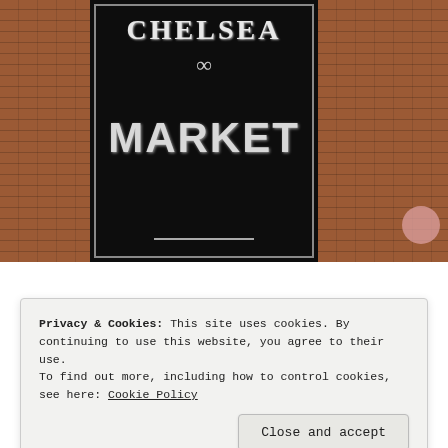[Figure (photo): Photograph of Chelsea Market building exterior showing a large black vertical sign with 'CHELSEA' written at the top and 'MARKET' in large letters below, surrounded by red brick walls on either side. A pink circular watermark is visible in the lower right corner of the image.]
Privacy & Cookies: This site uses cookies. By continuing to use this website, you agree to their use.
To find out more, including how to control cookies, see here: Cookie Policy